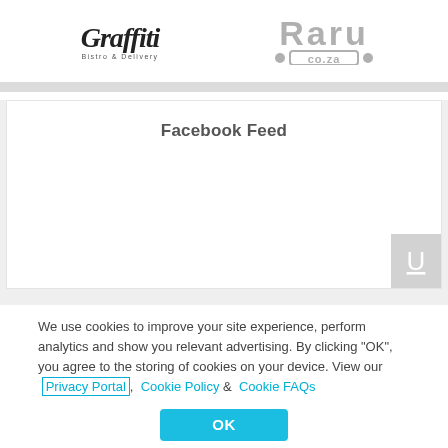[Figure (logo): Graffiti Bistro & Delivery logo in stylized handwritten font]
[Figure (logo): Raru.co.za logo in gray bold font with dots]
Facebook Feed
[Figure (screenshot): Facebook Feed embed area with a partial U icon in bottom right]
We use cookies to improve your site experience, perform analytics and show you relevant advertising. By clicking "OK", you agree to the storing of cookies on your device. View our  Privacy Portal ,  Cookie Policy  &  Cookie FAQs